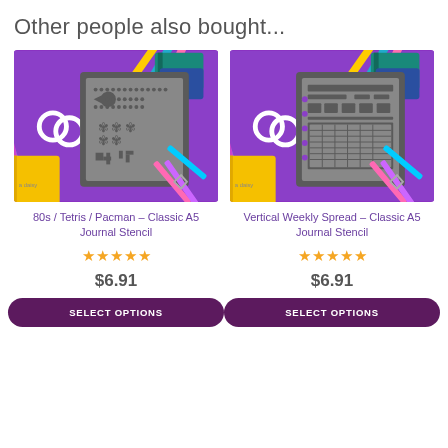Other people also bought...
[Figure (photo): Product photo of 80s/Tetris/Pacman Classic A5 Journal Stencil on purple background with colored pencils and notebooks]
80s / Tetris / Pacman – Classic A5 Journal Stencil
[Figure (other): Five yellow star rating]
$6.91
SELECT OPTIONS
[Figure (photo): Product photo of Vertical Weekly Spread Classic A5 Journal Stencil on purple background with colored pencils and notebooks]
Vertical Weekly Spread – Classic A5 Journal Stencil
[Figure (other): Five yellow star rating]
$6.91
SELECT OPTIONS